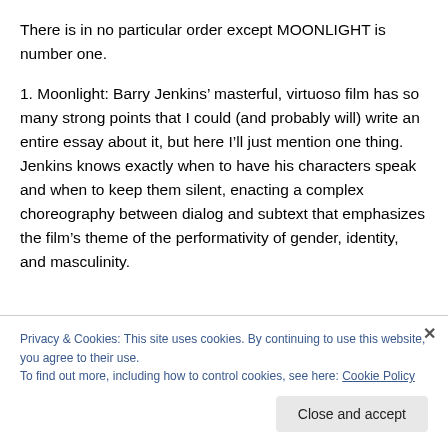There is in no particular order except MOONLIGHT is number one.
1. Moonlight: Barry Jenkins’ masterful, virtuoso film has so many strong points that I could (and probably will) write an entire essay about it, but here I’ll just mention one thing. Jenkins knows exactly when to have his characters speak and when to keep them silent, enacting a complex choreography between dialog and subtext that emphasizes the film’s theme of the performativity of gender, identity, and masculinity.
Privacy & Cookies: This site uses cookies. By continuing to use this website, you agree to their use.
To find out more, including how to control cookies, see here: Cookie Policy